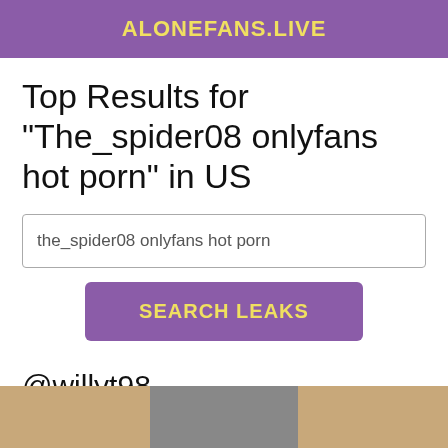ALONEFANS.LIVE
Top Results for "The_spider08 onlyfans hot porn" in US
the_spider08 onlyfans hot porn
SEARCH LEAKS
@willyt98
[Figure (photo): Partial bottom image strip showing cropped photos]